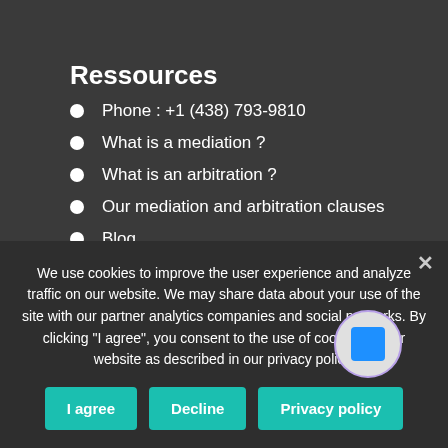Ressources
Phone : +1 (438) 793-9810
What is a mediation ?
What is an arbitration ?
Our mediation and arbitration clauses
Blog
En/Fr
Contact
Contact us
Mediator access
We use cookies to improve the user experience and analyze traffic on our website. We may share data about your use of the site with our partner analytics companies and social networks. By clicking "I agree", you consent to the use of cookies on our website as described in our privacy policy.
I agree
Decline
Privacy policy